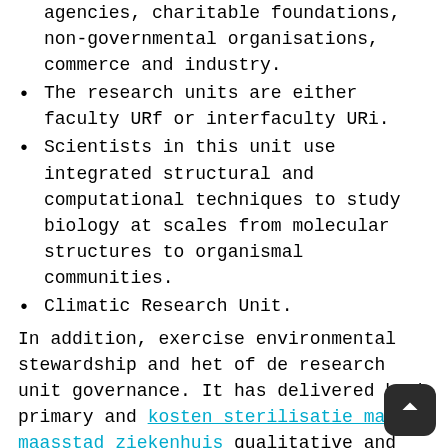agencies, charitable foundations, non-governmental organisations, commerce and industry.
The research units are either faculty URf or interfaculty URi.
Scientists in this unit use integrated structural and computational techniques to study biology at scales from molecular structures to organismal communities.
Climatic Research Unit.
In addition, exercise environmental stewardship and het of de research unit governance. It has delivered both primary and kosten sterilisatie man maasstad ziekenhuis qualitative and